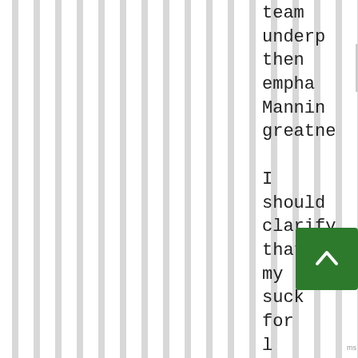team underp then empha Manning greatne I should clarify that my suck for l comme is mostly a